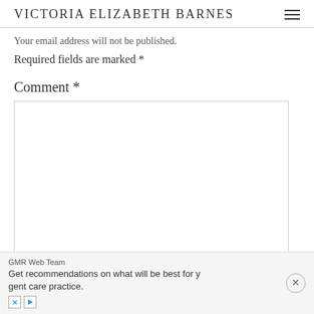VICTORIA ELIZABETH BARNES
Your email address will not be published.
Required fields are marked *
Comment *
[Figure (other): Empty comment text area input box]
GMR Web Team
Get recommendations on what will be best for y
gent care practice.